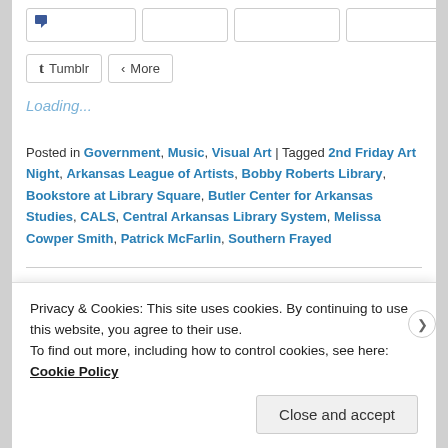[Figure (screenshot): Share buttons row: Tumblr and More buttons visible]
Loading...
Posted in Government, Music, Visual Art | Tagged 2nd Friday Art Night, Arkansas League of Artists, Bobby Roberts Library, Bookstore at Library Square, Butler Center for Arkansas Studies, CALS, Central Arkansas Library System, Melissa Cowper Smith, Patrick McFarlin, Southern Frayed
2015 In Memoriam –
Privacy & Cookies: This site uses cookies. By continuing to use this website, you agree to their use.
To find out more, including how to control cookies, see here: Cookie Policy
Close and accept